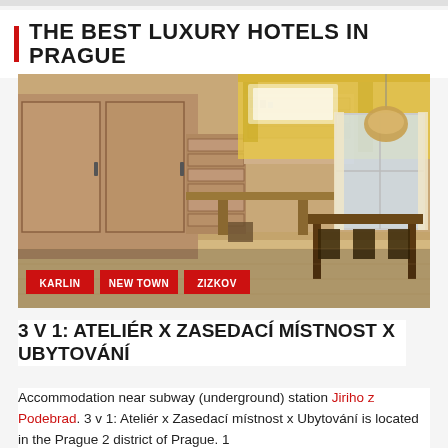THE BEST LUXURY HOTELS IN PRAGUE
[Figure (photo): Interior of a Prague accommodation showing wooden wardrobes/cabinets, a desk area, dining table with chairs, and yellow ceiling accents. Tags: KARLIN, NEW TOWN, ZIZKOV]
3 V 1: ATELIÉR X ZASEDACÍ MÍSTNOST X UBYTOVÁNÍ
Accommodation near subway (underground) station Jiriho z Podebrad. 3 v 1: Ateliér x Zasedací místnost x Ubytování is located in the Prague 2 district of Prague. 1